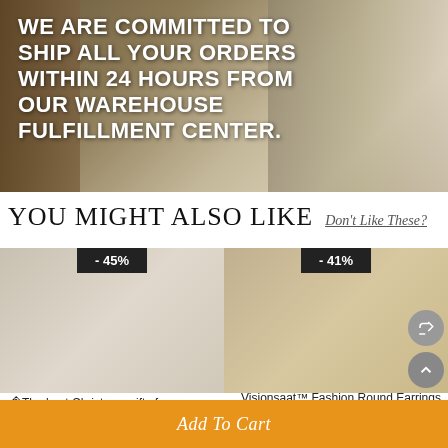[Figure (photo): Warehouse fulfillment center background image with bold white text overlay]
WE ARE COMMITTED TO SHIP ALL YOUR ORDERS WITHIN 24 HOURS FROM OUR WAREHOUSE FULFILLMENT CENTER.
YOU MIGHT ALSO LIKE
Don't Like These?
[Figure (photo): Product image with -45% discount badge for Christmas gifts - Shiny zirconia jewelry]
�The best Christmas gifts for women - Shiny zirco...
Tassel-Silver
[Figure (photo): Product image with -41% discount badge for Visionsaat Fashion Round Earrings]
Visionsaat™ Fashion Round Earrings
Add To Cart